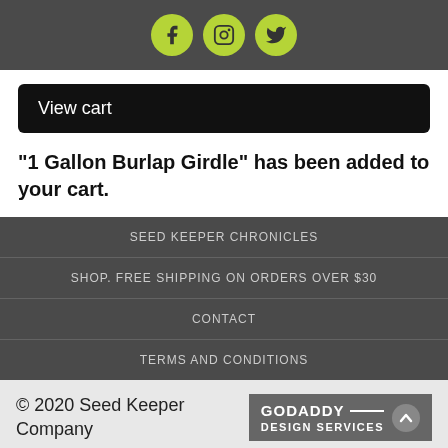[Figure (other): Social media icons bar with Facebook, Instagram, and Twitter icons on dark gray background with yellow-green circles]
View cart
“1 Gallon Burlap Girdle” has been added to your cart.
SEED KEEPER CHRONICLES
SHOP. FREE SHIPPING ON ORDERS OVER $30
CONTACT
TERMS AND CONDITIONS
© 2020 Seed Keeper Company
[Figure (logo): GoDaddy Design Services badge with up arrow]